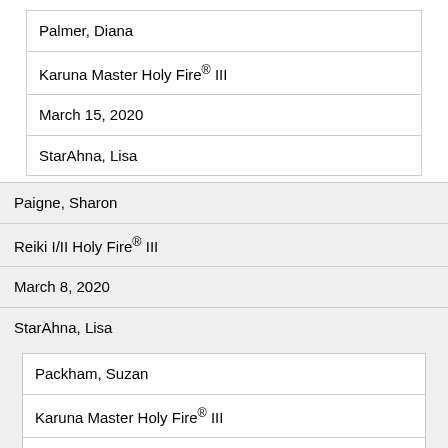| Palmer, Diana |
| Karuna Master Holy Fire® III |
| March 15, 2020 |
| StarAhna, Lisa |
| Paigne, Sharon |
| Reiki I/II Holy Fire® III |
| March 8, 2020 |
| StarAhna, Lisa |
| Packham, Suzan |
| Karuna Master Holy Fire® III |
| February 3, 2019 |